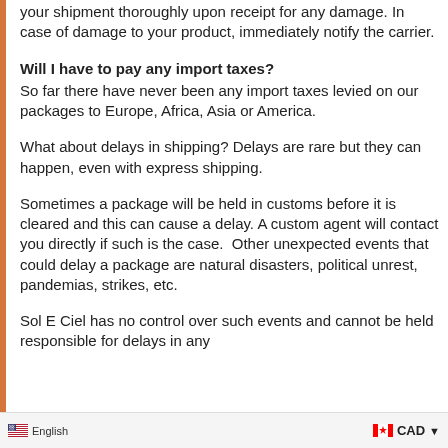your shipment thoroughly upon receipt for any damage. In case of damage to your product, immediately notify the carrier.
Will I have to pay any import taxes?
So far there have never been any import taxes levied on our packages to Europe, Africa, Asia or America.
What about delays in shipping? Delays are rare but they can happen, even with express shipping.
Sometimes a package will be held in customs before it is cleared and this can cause a delay. A custom agent will contact you directly if such is the case.  Other unexpected events that could delay a package are natural disasters, political unrest, pandemias, strikes, etc.
Sol E Ciel has no control over such events and cannot be held responsible for delays in any
English | CAD